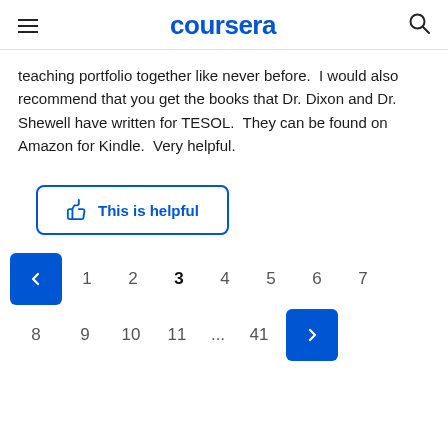coursera
teaching portfolio together like never before.  I would also recommend that you get the books that Dr. Dixon and Dr. Shewell have written for TESOL.  They can be found on Amazon for Kindle.  Very helpful.
[Figure (other): This is helpful button with thumbs up icon, blue border, blue text]
[Figure (other): Pagination control: previous button (blue), pages 1 2 3 4 5 6 7 on row 1; pages 8 9 10 11 ... 41 next button (blue) on row 2. Page 3 is bold. Current page indicator is the blue next arrow button.]